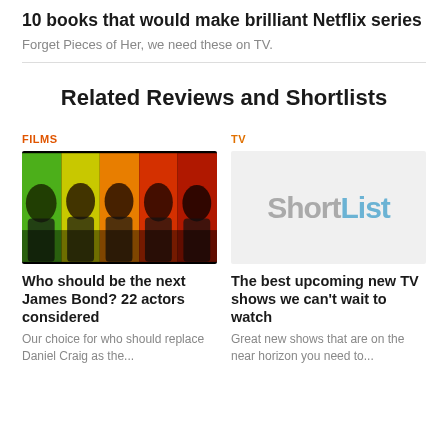10 books that would make brilliant Netflix series
Forget Pieces of Her, we need these on TV.
Related Reviews and Shortlists
FILMS
[Figure (photo): Colorized composite photo of five men's faces against colored panel backgrounds (green, yellow, orange, red)]
Who should be the next James Bond? 22 actors considered
Our choice for who should replace Daniel Craig as the...
TV
[Figure (logo): ShortList logo on light gray background — 'Short' in gray and 'List' in blue]
The best upcoming new TV shows we can't wait to watch
Great new shows that are on the near horizon you need to...